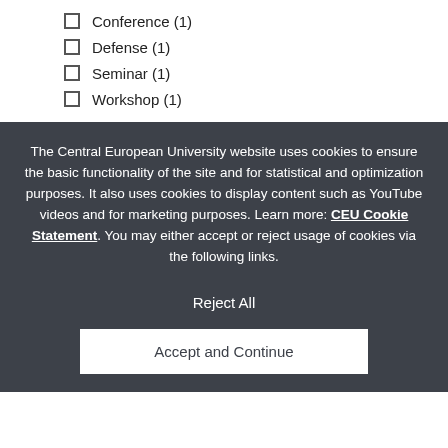Conference (1)
Defense (1)
Seminar (1)
Workshop (1)
The Central European University website uses cookies to ensure the basic functionality of the site and for statistical and optimization purposes. It also uses cookies to display content such as YouTube videos and for marketing purposes. Learn more: CEU Cookie Statement. You may either accept or reject usage of cookies via the following links.
Reject All
Accept and Continue